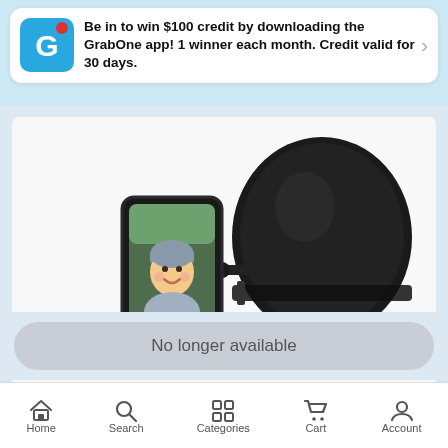Be in to win $100 credit by downloading the GrabOne app! 1 winner each month. Credit valid for 30 days.
[Figure (photo): A baby car seat mirror showing a smiling baby in a car seat, attached to a black leather car headrest with straps.]
No longer available
Home | Search | Categories | Cart | Account